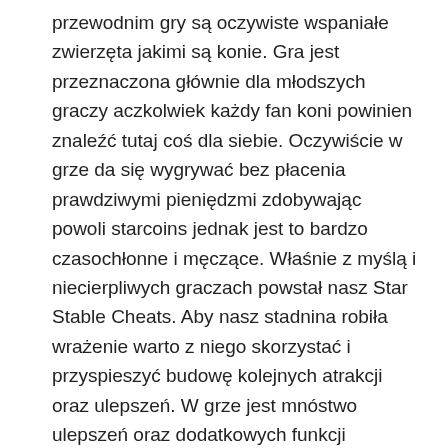przewodnim gry są oczywiste wspaniałe zwierzęta jakimi są konie. Gra jest przeznaczona głównie dla młodszych graczy aczkolwiek każdy fan koni powinien znaleźć tutaj coś dla siebie. Oczywiście w grze da się wygrywać bez płacenia prawdziwymi pieniędzmi zdobywając powoli starcoins jednak jest to bardzo czasochłonne i męczące. Właśnie z myślą i niecierpliwych graczach powstał nasz Star Stable Cheats. Aby nasz stadnina robiła wrażenie warto z niego skorzystać i przyspieszyć budowę kolejnych atrakcji oraz ulepszeń. W grze jest mnóstwo ulepszeń oraz dodatkowych funkcji ułatwiających nam rozwój. Jedyne czego potrzeba do ich zakupienia są właśnie monety które możecie wygenerować za pomocą naszego hacka. Nasze kody do Star Stable są zupełnie darmowe,